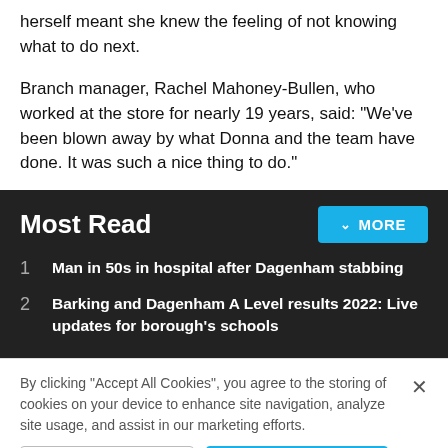herself meant she knew the feeling of not knowing what to do next.
Branch manager, Rachel Mahoney-Bullen, who worked at the store for nearly 19 years, said: "We've been blown away by what Donna and the team have done. It was such a nice thing to do."
Most Read
Man in 50s in hospital after Dagenham stabbing
Barking and Dagenham A Level results 2022: Live updates for borough's schools
By clicking "Accept All Cookies", you agree to the storing of cookies on your device to enhance site navigation, analyze site usage, and assist in our marketing efforts.